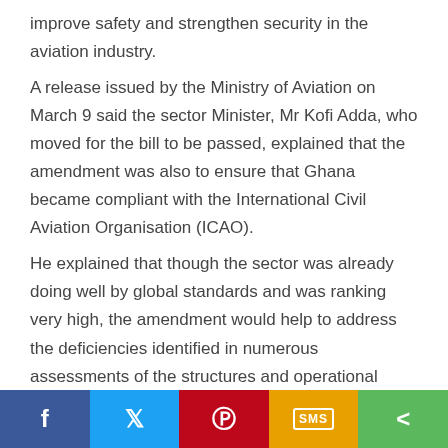improve safety and strengthen security in the aviation industry.
A release issued by the Ministry of Aviation on March 9 said the sector Minister, Mr Kofi Adda, who moved for the bill to be passed, explained that the amendment was also to ensure that Ghana became compliant with the International Civil Aviation Organisation (ICAO).
He explained that though the sector was already doing well by global standards and was ranking very high, the amendment would help to address the deficiencies identified in numerous assessments of the structures and operational systems of air navigational services, as well as ensure the effective implementation of the state safety programmes and accident investigations.
[Figure (other): Social media share bar with Facebook, Twitter, Pinterest, SMS, and Share buttons]